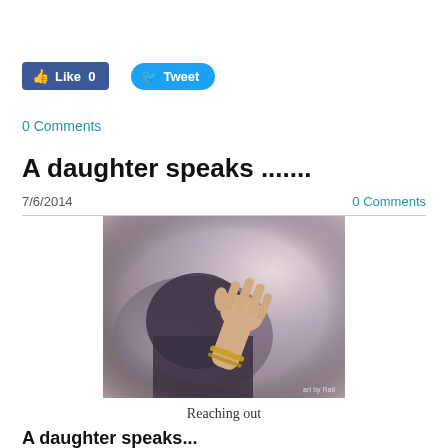[Figure (other): Facebook Like button (blue, rounded rectangle) showing 'Like 0' and Twitter Tweet button (blue, pill-shaped) showing 'Tweet']
0 Comments
A daughter speaks .......
7/6/2014
0 Comments
[Figure (photo): A hand with a gold bracelet/bangle reaching out against a grey fabric background. Watermark reads 'art by Rati' in bottom right corner.]
Reaching out
A daughter speaks...